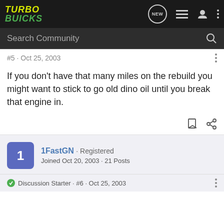Turbo Buicks
Search Community
#5 · Oct 25, 2003
If you don't have that many miles on the rebuild you might want to stick to go old dino oil until you break that engine in.
1FastGN · Registered
Joined Oct 20, 2003 · 21 Posts
Discussion Starter · #6 · Oct 25, 2003